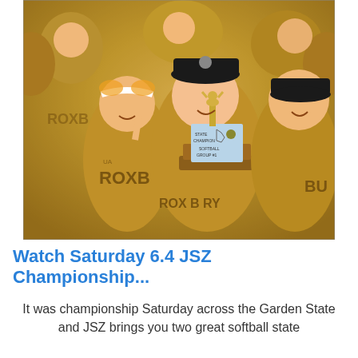[Figure (photo): A group of softball players in tan/gold Roxbury uniforms celebrating. A player in the center is holding a state championship trophy with a figurine on top and a wooden plaque base. Players are smiling and cheering.]
Watch Saturday 6.4 JSZ Championship...
It was championship Saturday across the Garden State and JSZ brings you two great softball state